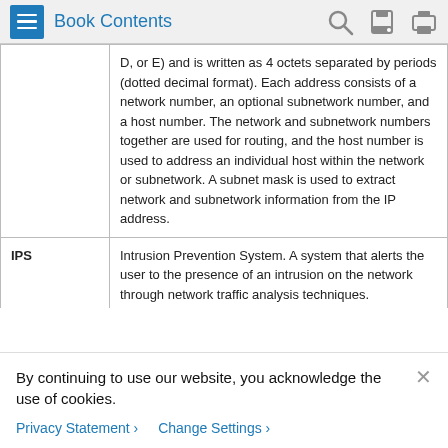Book Contents
| Term | Definition |
| --- | --- |
|  | D, or E) and is written as 4 octets separated by periods (dotted decimal format). Each address consists of a network number, an optional subnetwork number, and a host number. The network and subnetwork numbers together are used for routing, and the host number is used to address an individual host within the network or subnetwork. A subnet mask is used to extract network and subnetwork information from the IP address. |
| IPS | Intrusion Prevention System. A system that alerts the user to the presence of an intrusion on the network through network traffic analysis techniques. |
| IPS data or |  |
By continuing to use our website, you acknowledge the use of cookies.
Privacy Statement > Change Settings >